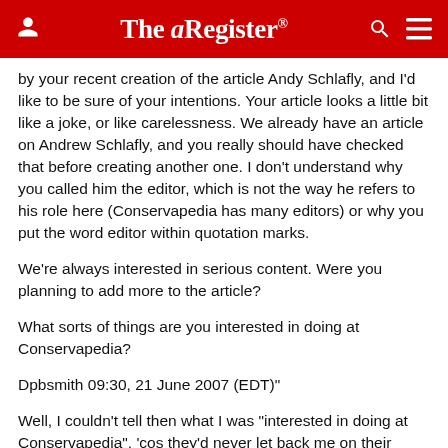The Register
by your recent creation of the article Andy Schlafly, and I'd like to be sure of your intentions. Your article looks a little bit like a joke, or like carelessness. We already have an article on Andrew Schlafly, and you really should have checked that before creating another one. I don't understand why you called him the editor, which is not the way he refers to his role here (Conservapedia has many editors) or why you put the word editor within quotation marks.
We're always interested in serious content. Were you planning to add more to the article?
What sorts of things are you interested in doing at Conservapedia?
Dpbsmith 09:30, 21 June 2007 (EDT)"
Well, I couldn't tell then what I was "interested in doing at Conservapedia", 'cos they'd never let back me on their